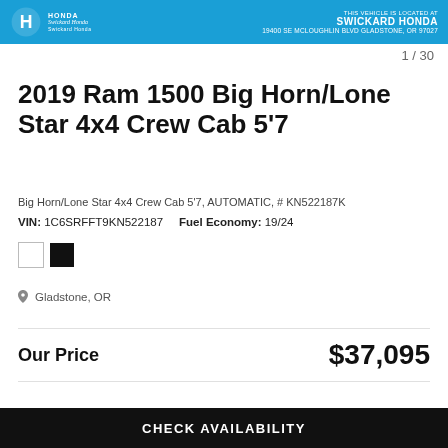THIS VEHICLE IS LOCATED AT SWICKARD HONDA 19400 SE MCLOUGHLIN BLVD GLADSTONE, OR 97027
1 / 30
2019 Ram 1500 Big Horn/Lone Star 4x4 Crew Cab 5'7
Big Horn/Lone Star 4x4 Crew Cab 5'7, AUTOMATIC, # KN522187K
VIN: 1C6SRFFT9KN522187    Fuel Economy: 19/24
Gladstone, OR
Our Price  $37,095
CHECK AVAILABILITY